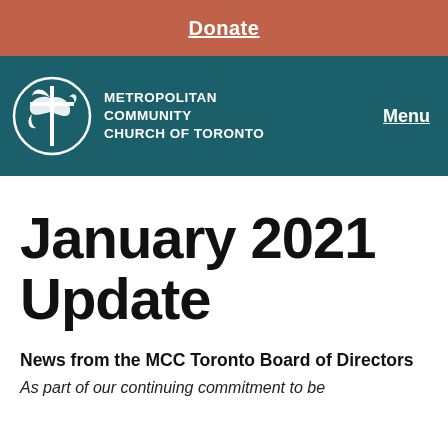Donate
[Figure (logo): Metropolitan Community Church of Toronto logo with white bird/cross emblem and church name, with Menu link on right]
January 2021 Update
News from the MCC Toronto Board of Directors
As part of our continuing commitment to be